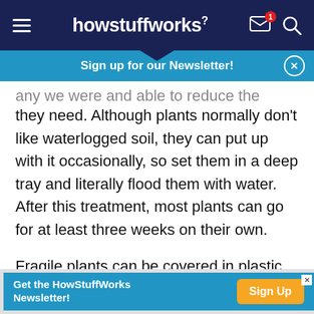howstuffworks
Sign up for our Newsletter!
any we were and able to reduce the amount of water they need. Although plants normally don't like waterlogged soil, they can put up with it occasionally, so set them in a deep tray and literally flood them with water. After this treatment, most plants can go for at least three weeks on their own.
Fragile plants can be covered in plastic when you are away from home for a long time. Since no water is lost to evaporation, plants can go for over a month
Get the HowStuffWorks Newsletter! Sign Up